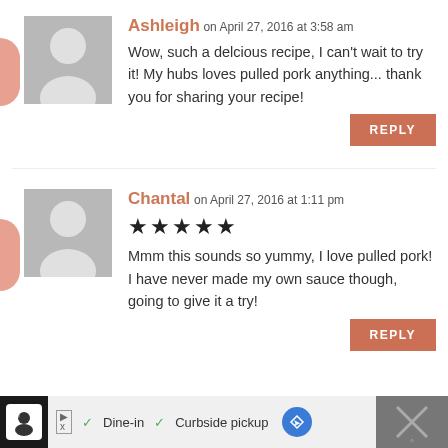Ashleigh on April 27, 2016 at 3:58 am
Wow, such a delcious recipe, I can't wait to try it! My hubs loves pulled pork anything... thank you for sharing your recipe!
REPLY
Chantal on April 27, 2016 at 1:11 pm
★★★★★
Mmm this sounds so yummy, I love pulled pork! I have never made my own sauce though, going to give it a try!
REPLY
Dine-in  Curbside pickup